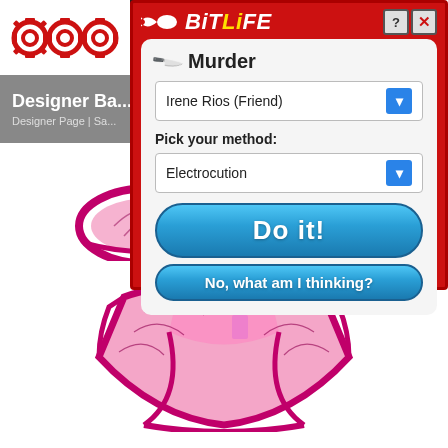[Figure (screenshot): BitLife mobile game screenshot showing a Murder dialog with a dropdown for 'Irene Rios (Friend)', method set to 'Electrocution', 'Do it!' button, and 'No, what am I thinking?' button, overlaid on a webpage showing a designer lingerie set]
BitLife
Murder
Irene Rios (Friend)
Pick your method:
Electrocution
Do it!
No, what am I thinking?
Designer Ba...
Designer Page | Sa...